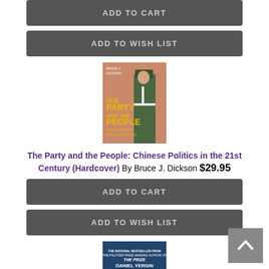ADD TO CART
ADD TO WISH LIST
[Figure (photo): Book cover: The Party and the People: Chinese Politics in the 21st Century by Bruce J. Dickson. Shows a Chinese soldier in green uniform standing at attention.]
The Party and the People: Chinese Politics in the 21st Century (Hardcover) By Bruce J. Dickson $29.95
ADD TO CART
ADD TO WISH LIST
[Figure (photo): Book cover: The Commanding Heights by Daniel Yergin and Joseph Stanislaw. Dark blue background with title text.]